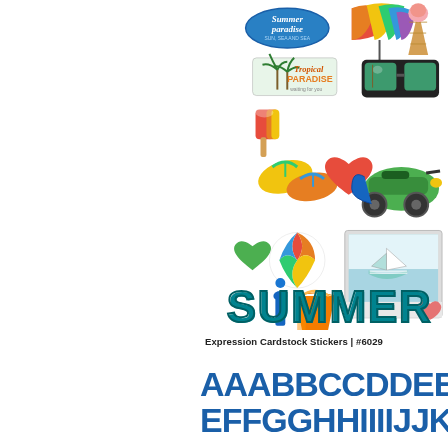[Figure (illustration): Summer-themed sticker sheet showing: Summer Paradise badge, rainbow umbrella, ice cream cone, Tropical Paradise badge, sunglasses, popsicle, flip flops, heart, scooter, green heart, rainbow beach ball, polaroid photo with sailboat, sand shovel, sand bucket, and large SUMMER text in teal]
Expression Cardstock Stickers | #6029
AAABBCCDDEEE EFFGGHHIIIIJJKK